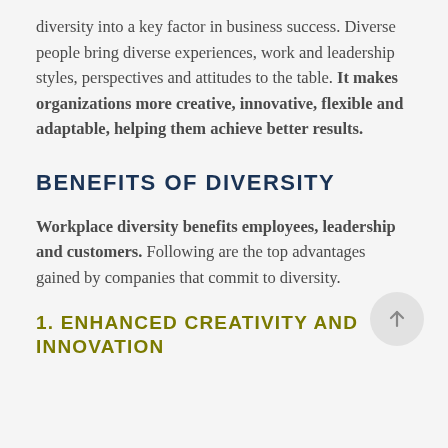diversity into a key factor in business success. Diverse people bring diverse experiences, work and leadership styles, perspectives and attitudes to the table. It makes organizations more creative, innovative, flexible and adaptable, helping them achieve better results.
BENEFITS OF DIVERSITY
Workplace diversity benefits employees, leadership and customers. Following are the top advantages gained by companies that commit to diversity.
1. ENHANCED CREATIVITY AND INNOVATION